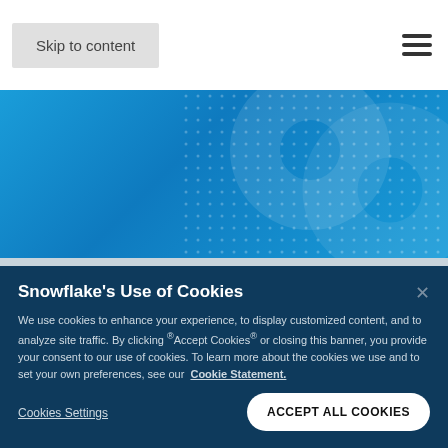Skip to content
[Figure (illustration): Blue gradient banner with dot pattern decorations resembling abstract snowflake shapes]
Snowflake's Use of Cookies
We use cookies to enhance your experience, to display customized content, and to analyze site traffic. By clicking "Accept Cookies" or closing this banner, you provide your consent to our use of cookies. To learn more about the cookies we use and to set your own preferences, see our Cookie Statement.
Cookies Settings
ACCEPT ALL COOKIES